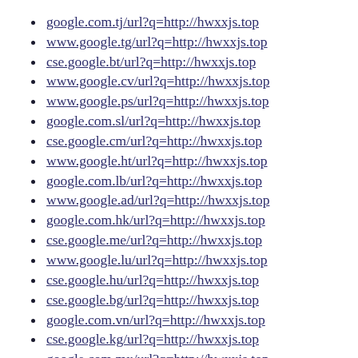cse.google.rw/url?q=http://hwxxjs.top
google.com.tj/url?q=http://hwxxjs.top
www.google.tg/url?q=http://hwxxjs.top
cse.google.bt/url?q=http://hwxxjs.top
www.google.cv/url?q=http://hwxxjs.top
www.google.ps/url?q=http://hwxxjs.top
google.com.sl/url?q=http://hwxxjs.top
cse.google.cm/url?q=http://hwxxjs.top
www.google.ht/url?q=http://hwxxjs.top
google.com.lb/url?q=http://hwxxjs.top
www.google.ad/url?q=http://hwxxjs.top
google.com.hk/url?q=http://hwxxjs.top
cse.google.me/url?q=http://hwxxjs.top
www.google.lu/url?q=http://hwxxjs.top
cse.google.hu/url?q=http://hwxxjs.top
cse.google.bg/url?q=http://hwxxjs.top
google.com.vn/url?q=http://hwxxjs.top
cse.google.kg/url?q=http://hwxxjs.top
google.com.mx/url?q=http://hwxxjs.top